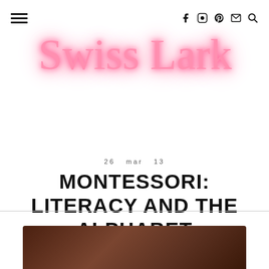Navigation bar with hamburger menu and icons: Facebook, Instagram, Pinterest, Email, Search
[Figure (logo): Swiss Lark blog logo in glowing pink neon cursive script]
26 mar 13
MONTESSORI: LITERACY AND THE ALPHABET
[Figure (photo): Dark wooden surface photo strip at bottom of page]